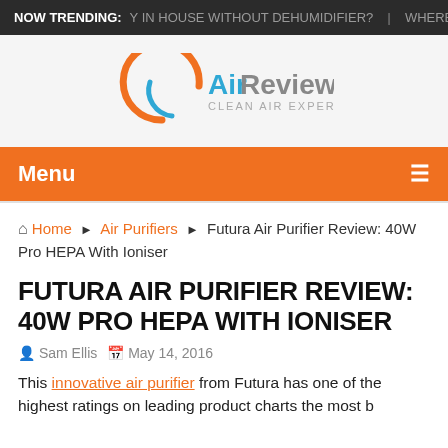NOW TRENDING: Y IN HOUSE WITHOUT DEHUMIDIFIER? | WHERE T
[Figure (logo): Air Reviews Clean Air Expert logo with orange and blue arc graphic]
Menu
Home › Air Purifiers › Futura Air Purifier Review: 40W Pro HEPA With Ioniser
FUTURA AIR PURIFIER REVIEW: 40W PRO HEPA WITH IONISER
Sam Ellis   May 14, 2016
This innovative air purifier from Futura has one of the highest ratings on leading product charts the most b...